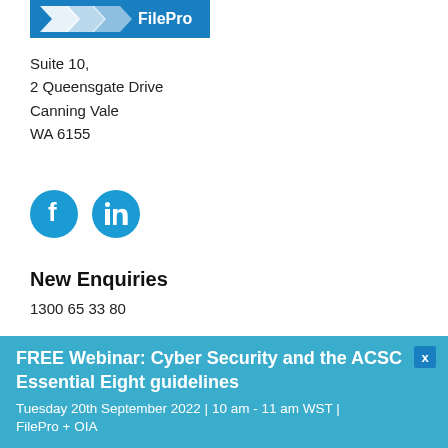[Figure (logo): FilePro logo — blue banner with white text/chevron marks]
Suite 10,
2 Queensgate Drive
Canning Vale
WA 6155
[Figure (illustration): Facebook and LinkedIn social media icon circles in blue]
New Enquiries
1300 65 33 80
Email: info@filepro.com.au
Client Support and Technical help
1800 069 700
FREE Webinar:  Cyber Security and the ACSC Essential Eight guidelines
Tuesday 20th September 2022 | 10 am - 11 am WST | FilePro + OIA